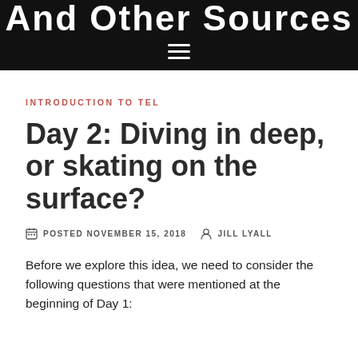And Other Sources
INTRODUCTION TO TEL
Day 2: Diving in deep, or skating on the surface?
POSTED NOVEMBER 15, 2018  JILL LYALL
Before we explore this idea, we need to consider the following questions that were mentioned at the beginning of Day 1: